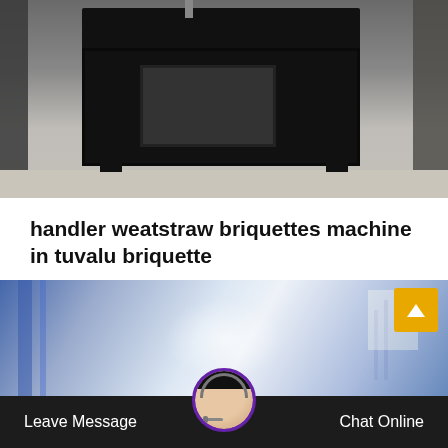[Figure (photo): Industrial machine (large black metal briquetting machine frame) on a factory floor with grey concrete ground and various equipment visible in the background.]
handler weatstraw briquettes machine in tuvalu briquette
Briquette Machine Sao Tome And Principe Board Vs. Aug 04 2016 Process The dried and granulated rawmaterial is fed into the machine with the help of infeed screw conveyor…
[Figure (photo): Factory interior background with blue-tinted industrial warehouse with steel structure visible.]
[Figure (photo): Chat support avatar — woman with headset customer service representative, circular portrait.]